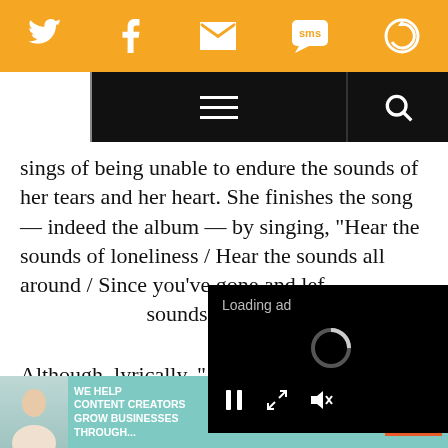[Figure (screenshot): Orange navigation bar with social media icons: Twitter bird, Facebook f, envelope/email, SMS chat bubble, and a refresh/share icon, all white on orange background]
[Figure (screenshot): Black navigation bar with white hamburger menu icon in center and white search magnifying glass icon on right; white block on left]
sings of being unable to endure the sounds of her tears and her heart. She finishes the song — indeed the album — by singing, "Hear the sounds of loneliness / Hear the sounds all around / Since you've gone and lef... sounds from now o...
[Figure (screenshot): Black video player overlay showing 'Loading ad' text, a spinning loading circle, and media controls including pause, expand, and mute buttons]
Although, lyrically, "... isolation, in the context of this personal albu...
[Figure (screenshot): Advertisement banner for SHE Media partner network. Text: 'We help content creators grow businesses through...' with SHE logo and 'LEARN MORE' orange button on teal background]